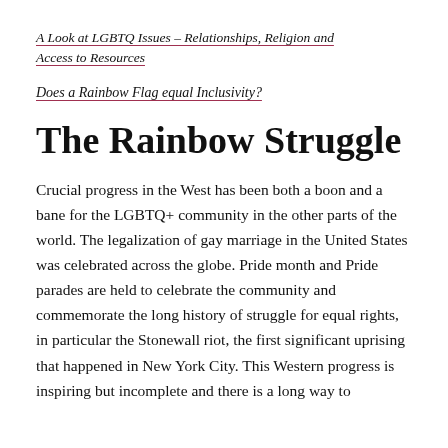A Look at LGBTQ Issues – Relationships, Religion and Access to Resources
Does a Rainbow Flag equal Inclusivity?
The Rainbow Struggle
Crucial progress in the West has been both a boon and a bane for the LGBTQ+ community in the other parts of the world. The legalization of gay marriage in the United States was celebrated across the globe. Pride month and Pride parades are held to celebrate the community and commemorate the long history of struggle for equal rights, in particular the Stonewall riot, the first significant uprising that happened in New York City. This Western progress is inspiring but incomplete and there is a long way to